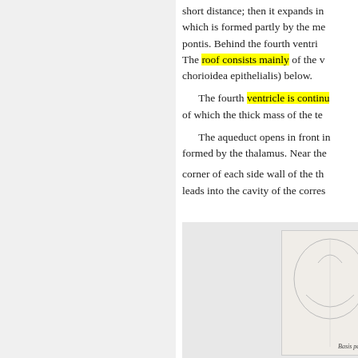short distance; then it expands in which is formed partly by the me pontis. Behind the fourth ventri The roof consists mainly of the v chorioidea epithelialis) below.
The fourth ventricle is continu of which the thick mass of the te
The aqueduct opens in front in formed by the thalamus. Near the corner of each side wall of the th leads into the cavity of the corres
The medulla oblongata is the (one inch) in length, and it may b cervical nerve, or,
[Figure (illustration): Anatomical illustration of brain structures, partially visible at bottom right of page. Label reads 'Basis pedunce' (partially visible).]